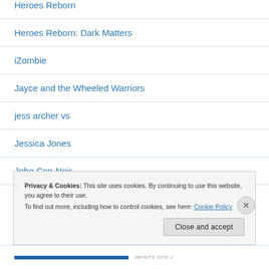Heroes Reborn
Heroes Reborn: Dark Matters
iZombie
Jayce and the Wheeled Warriors
jess archer vs
Jessica Jones
John Con Noir
Privacy & Cookies: This site uses cookies. By continuing to use this website, you agree to their use.
To find out more, including how to control cookies, see here: Cookie Policy
Close and accept